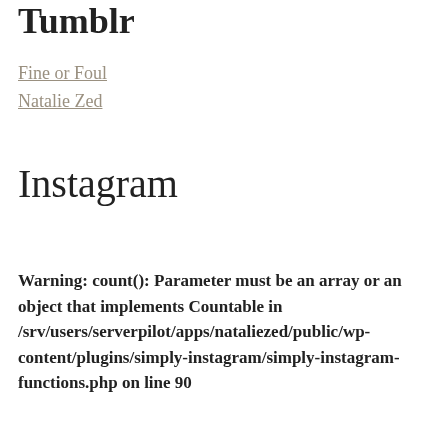Tumblr
Fine or Foul
Natalie Zed
Instagram
Warning: count(): Parameter must be an array or an object that implements Countable in /srv/users/serverpilot/apps/nataliezed/public/wp-content/plugins/simply-instagram/simply-instagram-functions.php on line 90